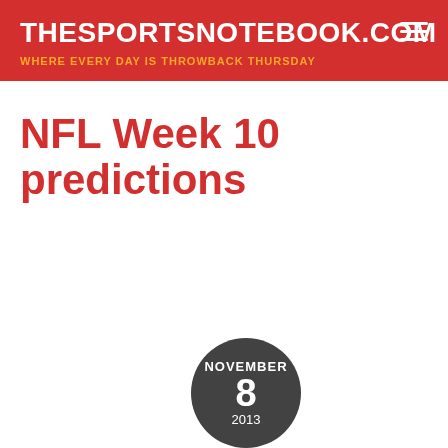THESPORTSNOTEBOOK.COM
WHERE EVERY DAY IS THROWBACK THURSDAY
NFL Week 10 predictions
NOVEMBER 8 2013